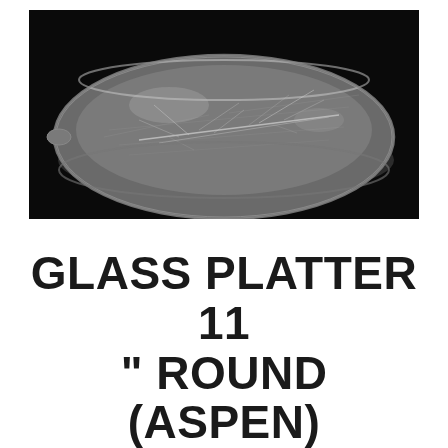[Figure (photo): Black and white photograph of a round glass platter (Aspen style) with leaf vein texture pattern, shown from a slightly elevated side angle against a black background.]
GLASS PLATTER 11 " ROUND (ASPEN)